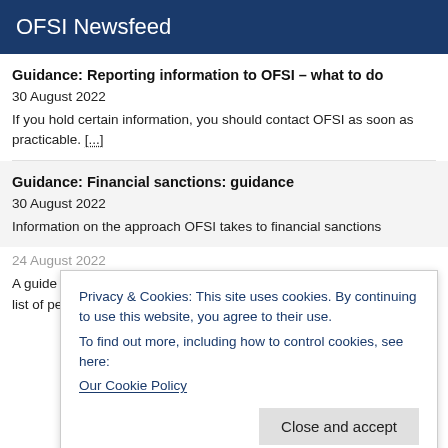OFSI Newsfeed
Guidance: Reporting information to OFSI – what to do
30 August 2022
If you hold certain information, you should contact OFSI as soon as practicable. [...]
Guidance: Financial sanctions: guidance
30 August 2022
Information on the approach OFSI takes to financial sanctions including...
Privacy & Cookies: This site uses cookies. By continuing to use this website, you agree to their use.
To find out more, including how to control cookies, see here:
Our Cookie Policy
Close and accept
24 August 2022
A guide to the current consolidated list of asset freeze targets, and a list of persons named in relation to financial and